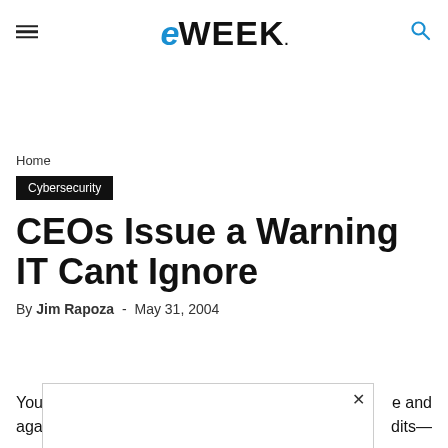eWEEK
Home
Cybersecurity
CEOs Issue a Warning IT Cant Ignore
By Jim Rapoza - May 31, 2004
You can ... e and again, I- ... dits—